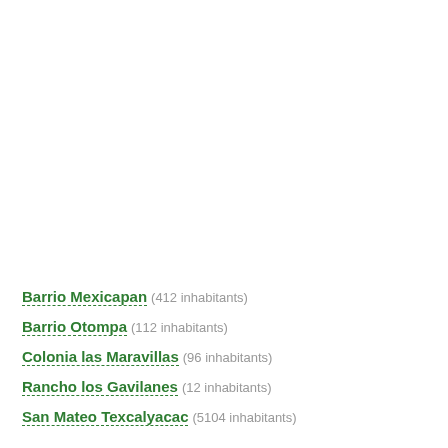Barrio Mexicapan (412 inhabitants)
Barrio Otompa (112 inhabitants)
Colonia las Maravillas (96 inhabitants)
Rancho los Gavilanes (12 inhabitants)
San Mateo Texcalyacac (5104 inhabitants)